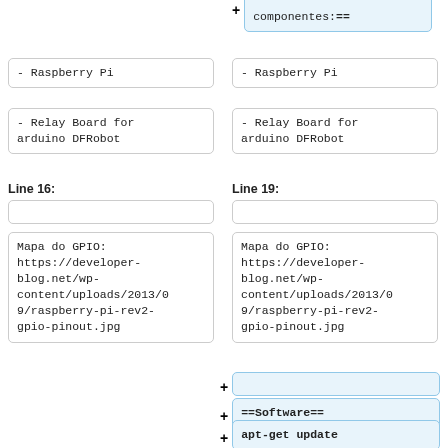componentes:==
- Raspberry Pi
- Raspberry Pi
- Relay Board for arduino DFRobot
- Relay Board for arduino DFRobot
Line 16:
Line 19:
Mapa do GPIO: https://developer-blog.net/wp-content/uploads/2013/09/raspberry-pi-rev2-gpio-pinout.jpg
Mapa do GPIO: https://developer-blog.net/wp-content/uploads/2013/09/raspberry-pi-rev2-gpio-pinout.jpg
==Software==
apt-get update